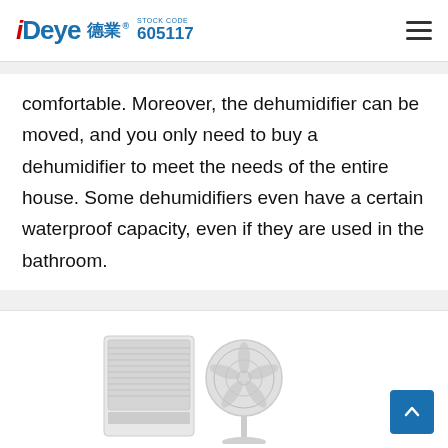Deye 德業® STOCK CODE 605117
comfortable. Moreover, the dehumidifier can be moved, and you only need to buy a dehumidifier to meet the needs of the entire house. Some dehumidifiers even have a certain waterproof capacity, even if they are used in the bathroom.
[Figure (photo): Product image showing a white floor-standing air conditioner/dehumidifier unit and a white fan on a light background.]